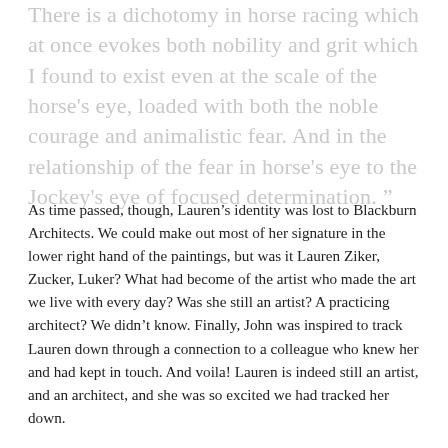There is a dichotomy in horse racing which at once evokes both nobility and grit which I found to exist even at the scale of the horse's eye, loaded with both the noble courage and animalistic fear. And in the relationship of the fear in horse's eye to the Jockey's eye of focused determination. ”
As time passed, though, Lauren’s identity was lost to Blackburn Architects. We could make out most of her signature in the lower right hand of the paintings, but was it Lauren Ziker, Zucker, Luker? What had become of the artist who made the art we live with every day? Was she still an artist? A practicing architect? We didn’t know. Finally, John was inspired to track Lauren down through a connection to a colleague who knew her and had kept in touch. And voila! Lauren is indeed still an artist, and an architect, and she was so excited we had tracked her down.
“I have such great memories of Blackburn Architects and of John. I remember being equally disappointed that the timing didn’t work out as the job would have merged my two greatest passions as a life-long horse